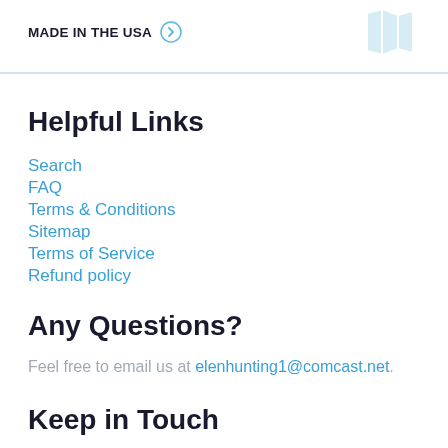MADE IN THE USA
Helpful Links
Search
FAQ
Terms & Conditions
Sitemap
Terms of Service
Refund policy
Any Questions?
Feel free to email us at elenhunting1@comcast.net.
Keep in Touch